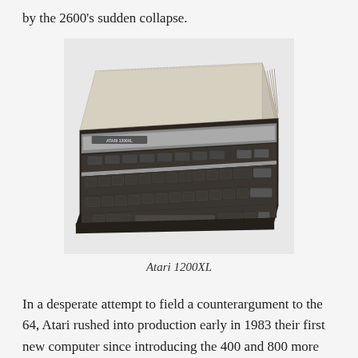by the 2600's sudden collapse.
[Figure (photo): Photograph of an Atari 1200XL home computer, shown at an angle. The computer has a cream/beige top casing and a dark brown/black keyboard section with rows of keys. The Atari 1200XL logo is visible on the front of the keyboard section.]
Atari 1200XL
In a desperate attempt to field a counterargument to the 64, Atari rushed into production early in 1983 their first new computer since introducing the 400 and 800 more than three years before. Thanks to a bank-switching